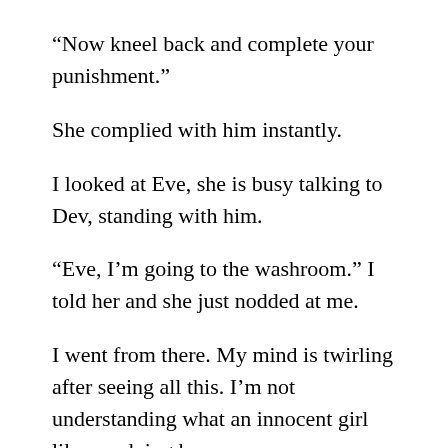“Now kneel back and complete your punishment.”
She complied with him instantly.
I looked at Eve, she is busy talking to Dev, standing with him.
“Eve, I’m going to the washroom.” I told her and she just nodded at me.
I went from there. My mind is twirling after seeing all this. I’m not understanding what an innocent girl like me doing here.
I saw people roaming and crawling like a pet all around naked casually. A girl is bent over the